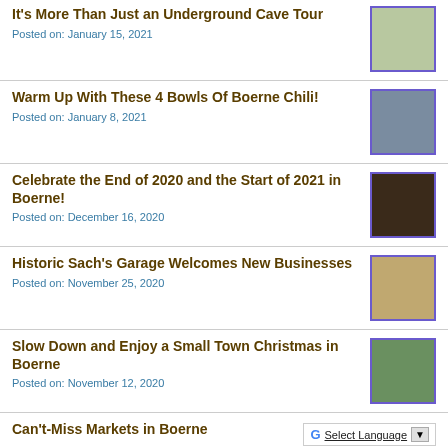It’s More Than Just an Underground Cave Tour
Posted on: January 15, 2021
Warm Up With These 4 Bowls Of Boerne Chili!
Posted on: January 8, 2021
Celebrate the End of 2020 and the Start of 2021 in Boerne!
Posted on: December 16, 2020
Historic Sach’s Garage Welcomes New Businesses
Posted on: November 25, 2020
Slow Down and Enjoy a Small Town Christmas in Boerne
Posted on: November 12, 2020
Can’t-Miss Markets in Boerne